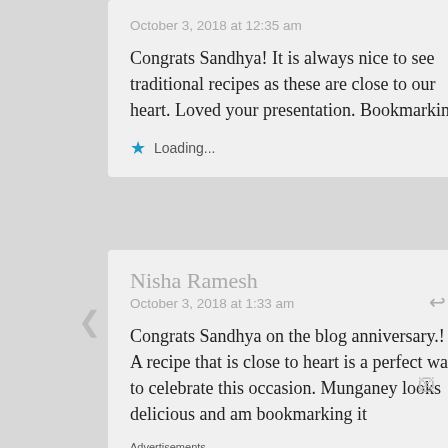October 3, 2018 at 12:35 am
Congrats Sandhya! It is always nice to see traditional recipes as these are close to our heart. Loved your presentation. Bookmarking
Loading...
Nisha Ramesh
October 3, 2018 at 1:33 am
Congrats Sandhya on the blog anniversary.! A recipe that is close to heart is a perfect way to celebrate this occasion. Munganey looks delicious and am bookmarking it
Advertisements
[Figure (other): Macy's advertisement banner: KISS BORING LIPS GOODBYE with SHOP NOW button and Macy's logo]